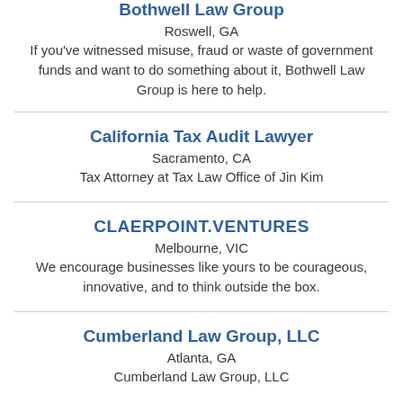Bothwell Law Group
Roswell, GA
If you've witnessed misuse, fraud or waste of government funds and want to do something about it, Bothwell Law Group is here to help.
California Tax Audit Lawyer
Sacramento, CA
Tax Attorney at Tax Law Office of Jin Kim
CLAERPOINT.VENTURES
Melbourne, VIC
We encourage businesses like yours to be courageous, innovative, and to think outside the box.
Cumberland Law Group, LLC
Atlanta, GA
Cumberland Law Group, LLC